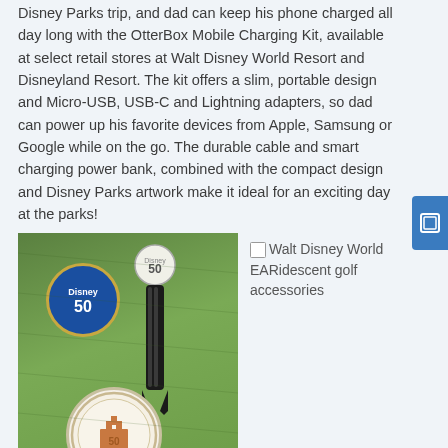Disney Parks trip, and dad can keep his phone charged all day long with the OtterBox Mobile Charging Kit, available at select retail stores at Walt Disney World Resort and Disneyland Resort. The kit offers a slim, portable design and Micro-USB, USB-C and Lightning adapters, so dad can power up his favorite devices from Apple, Samsung or Google while on the go. The durable cable and smart charging power bank, combined with the compact design and Disney Parks artwork make it ideal for an exciting day at the parks!
[Figure (photo): Golf accessories on green grass background: two round ball markers with Disney 50th anniversary logo, one blue/gold and one white, plus a black divot repair tool with a 50th anniversary ball marker attached at the top]
Walt Disney World EARidescent golf accessories
[Figure (photo): Outdoor scene at a Disney park showing trees and what appears to be a stroller or wheelchair in blue]